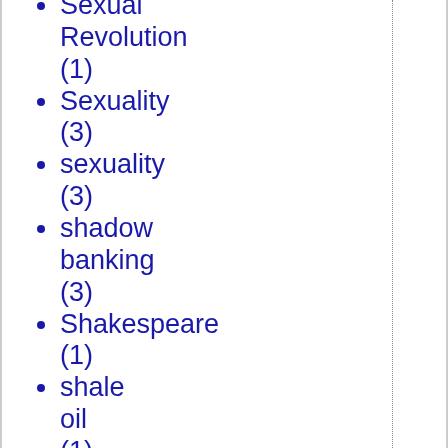Sexual Revolution (1)
Sexuality (3)
sexuality (3)
shadow banking (3)
Shakespeare (1)
shale oil (1)
Sharia (2)
sharia (36)
Sharia Law (1)
Sharing (1)
Sherman (1)